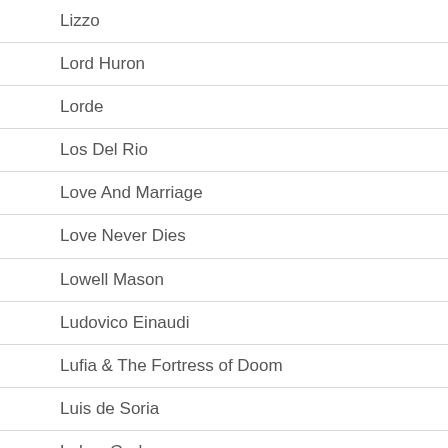Lizzo
Lord Huron
Lorde
Los Del Rio
Love And Marriage
Love Never Dies
Lowell Mason
Ludovico Einaudi
Lufia & The Fortress of Doom
Luis de Soria
Lukas Graham